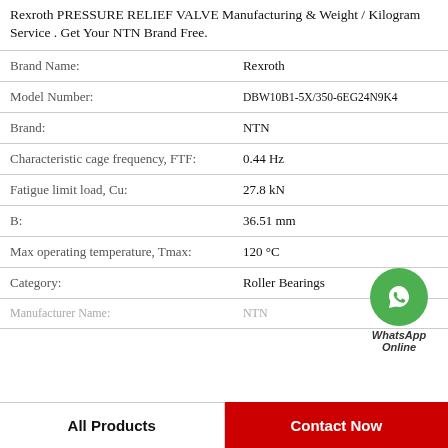Rexroth PRESSURE RELIEF VALVE Manufacturing & Weight / Kilogram Service . Get Your NTN Brand Free.
| Property | Value |
| --- | --- |
| Brand Name: | Rexroth |
| Model Number: | DBW10B1-5X/350-6EG24N9K4 |
| Brand: | NTN |
| Characteristic cage frequency, FTF: | 0.44 Hz |
| Fatigue limit load, Cu: | 27.8 kN |
| B: | 36.51 mm |
| Max operating temperature, Tmax: | 120 °C |
| Category: | Roller Bearings |
[Figure (illustration): WhatsApp Online contact button with green phone icon circle and italic text 'WhatsApp Online']